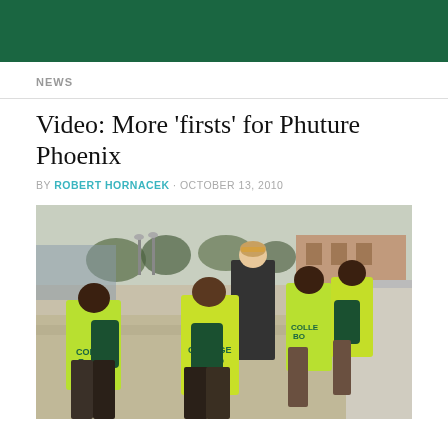NEWS
Video: More 'firsts' for Phuture Phoenix
BY ROBERT HORNACEK · OCTOBER 13, 2010
[Figure (photo): Group of children wearing bright yellow-green 'College Bound' shirts and dark green drawstring bags, viewed from behind, standing with a taller person on a college campus walkway with trees and buildings in the background.]